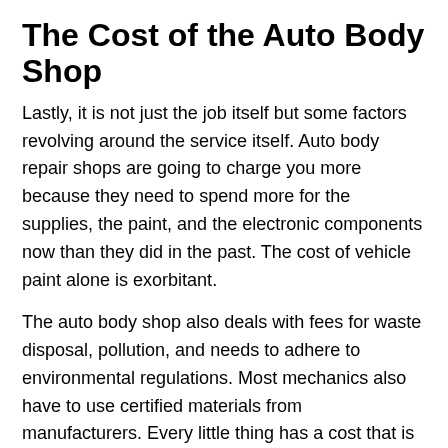The Cost of the Auto Body Shop
Lastly, it is not just the job itself but some factors revolving around the service itself. Auto body repair shops are going to charge you more because they need to spend more for the supplies, the paint, and the electronic components now than they did in the past. The cost of vehicle paint alone is exorbitant.
The auto body shop also deals with fees for waste disposal, pollution, and needs to adhere to environmental regulations. Most mechanics also have to use certified materials from manufacturers. Every little thing has a cost that is factored into the overall price of collision repair.